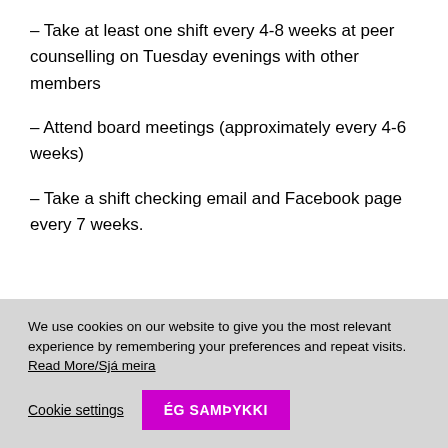– Take at least one shift every 4-8 weeks at peer counselling on Tuesday evenings with other members
– Attend board meetings (approximately every 4-6 weeks)
– Take a shift checking email and Facebook page every 7 weeks.
We use cookies on our website to give you the most relevant experience by remembering your preferences and repeat visits. Read More/Sjá meira
Cookie settings | ÉG SAMÞYKKI